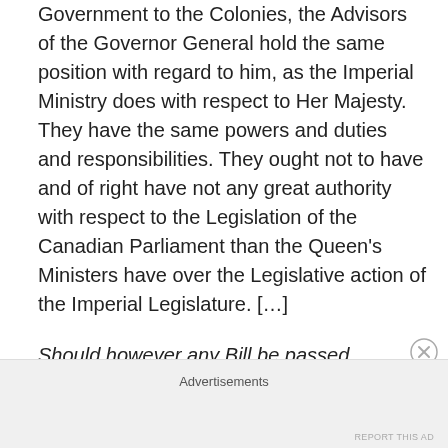Government to the Colonies, the Advisors of the Governor General hold the same position with regard to him, as the Imperial Ministry does with respect to Her Majesty. They have the same powers and duties and responsibilities. They ought not to have and of right have not any great authority with respect to the Legislation of the Canadian Parliament than the Queen's Ministers have over the Legislative action of the Imperial Legislature. […]
Should however any Bill be passed notwithstanding their opposition or adverse opinion, they cannot advise its rejection by the Sovereign.
The power of veto by the Crown is now admitted to be
Advertisements